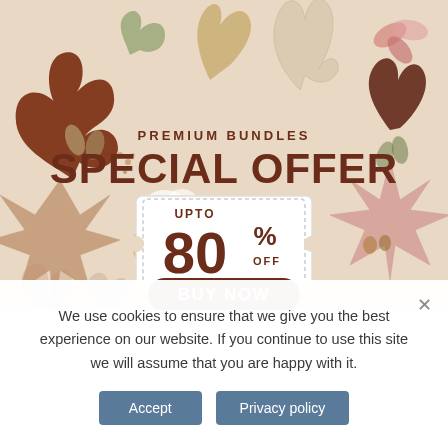[Figure (illustration): Autumn-themed promotional banner with decorative fall leaves (oak, ginkgo, botanical) in brown, pink, olive, and beige tones on a warm beige background. Contains promotional text: PREMIUM BUNDLES, SPECIAL OFFER, UPTO 80% OFF, and a BUY NOW button.]
We use cookies to ensure that we give you the best experience on our website. If you continue to use this site we will assume that you are happy with it.
Accept
Privacy policy